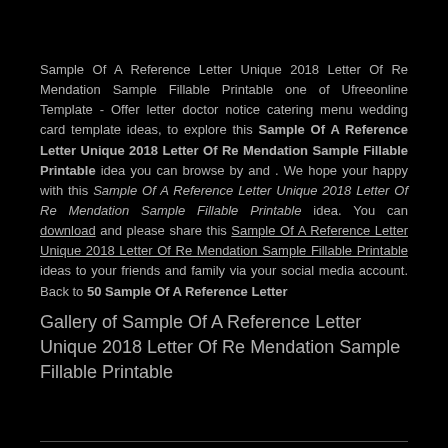Sample Of A Reference Letter Unique 2018 Letter Of Re Mendation Sample Fillable Printable one of Ufreeonline Template - Offer letter doctor notice catering menu wedding card template ideas, to explore this Sample Of A Reference Letter Unique 2018 Letter Of Re Mendation Sample Fillable Printable idea you can browse by and . We hope your happy with this Sample Of A Reference Letter Unique 2018 Letter Of Re Mendation Sample Fillable Printable idea. You can download and please share this Sample Of A Reference Letter Unique 2018 Letter Of Re Mendation Sample Fillable Printable ideas to your friends and family via your social media account. Back to 50 Sample Of A Reference Letter
Gallery of Sample Of A Reference Letter Unique 2018 Letter Of Re Mendation Sample Fillable Printable